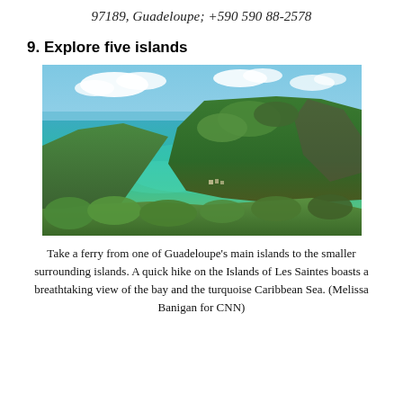97189, Guadeloupe; +590 590 88-2578
9. Explore five islands
[Figure (photo): Aerial view of a lush green island surrounded by turquoise Caribbean Sea water, with a bay visible in the foreground and white clouds in the blue sky above.]
Take a ferry from one of Guadeloupe’s main islands to the smaller surrounding islands. A quick hike on the Islands of Les Saintes boasts a breathtaking view of the bay and the turquoise Caribbean Sea. (Melissa Banigan for CNN)